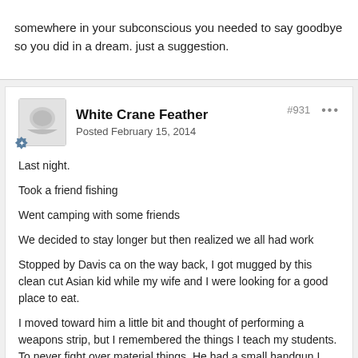somewhere in your subconscious you needed to say goodbye so you did in a dream. just a suggestion.
White Crane Feather
Posted February 15, 2014
#931
Last night.
Took a friend fishing
Went camping with some friends
We decided to stay longer but then realized we all had work
Stopped by Davis ca on the way back, I got mugged by this clean cut Asian kid while my wife and I were looking for a good place to eat.
I moved toward him a little bit and thought of performing a weapons strip, but I remembered the things I teach my students. To never fight over material things. He had a small handgun I gave him my wallet. I almost talked him into letting me keep my I'd.